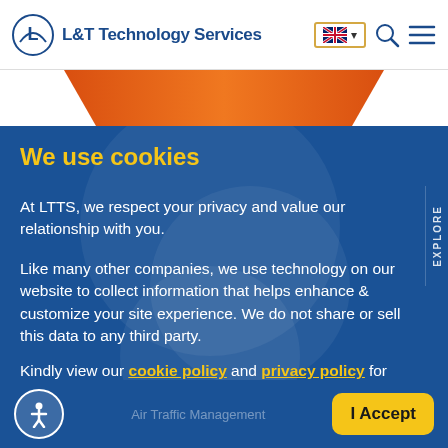L&T Technology Services
[Figure (screenshot): Orange trapezoidal decorative banner shape]
We use cookies
At LTTS, we respect your privacy and value our relationship with you.
Like many other companies, we use technology on our website to collect information that helps enhance & customize your site experience. We do not share or sell this data to any third party.
Kindly view our cookie policy and privacy policy for more details.
Air Traffic Management
I Accept